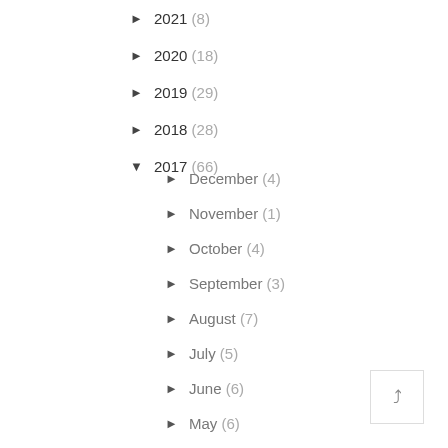► 2021 (8)
► 2020 (18)
► 2019 (29)
► 2018 (28)
▼ 2017 (66)
► December (4)
► November (1)
► October (4)
► September (3)
► August (7)
► July (5)
► June (6)
► May (6)
► April (8)
► March (8)
▼ February (7)